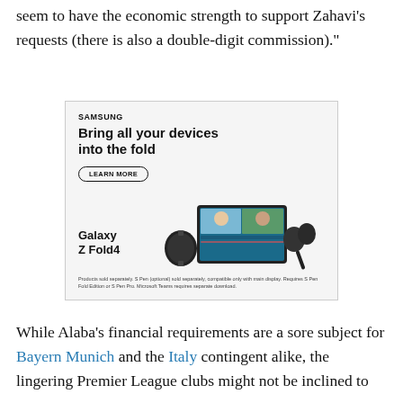seem to have the economic strength to support Zahavi's requests (there is also a double-digit commission)."
[Figure (photo): Samsung advertisement for Galaxy Z Fold4. Shows Samsung logo, headline 'Bring all your devices into the fold', a 'LEARN MORE' button, an image of Samsung Galaxy devices including watch, foldable phone with video call on screen, earbuds, and S Pen, and 'Galaxy Z Fold4' text. Disclaimer at bottom about products sold separately.]
While Alaba's financial requirements are a sore subject for Bayern Munich and the Italy contingent alike, the lingering Premier League clubs might not be inclined to